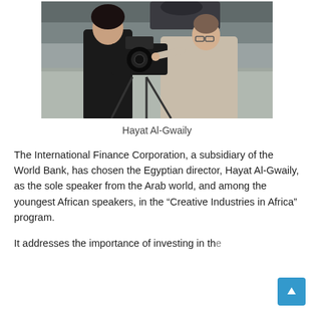[Figure (photo): Two women working with a video camera on a tripod outdoors on a city street. One woman holds the camera while the other points at it.]
Hayat Al-Gwaily
The International Finance Corporation, a subsidiary of the World Bank, has chosen the Egyptian director, Hayat Al-Gwaily, as the sole speaker from the Arab world, and among the youngest African speakers, in the “Creative Industries in Africa” program.
It addresses the importance of investing in the